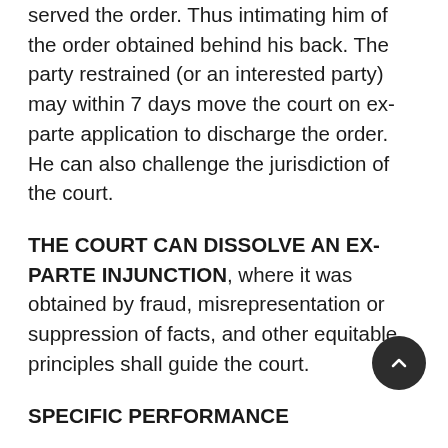served the order. Thus intimating him of the order obtained behind his back. The party restrained (or an interested party) may within 7 days move the court on ex-parte application to discharge the order. He can also challenge the jurisdiction of the court.
THE COURT CAN DISSOLVE AN EX-PARTE INJUNCTION, where it was obtained by fraud, misrepresentation or suppression of facts, and other equitable principles shall guide the court.
SPECIFIC PERFORMANCE